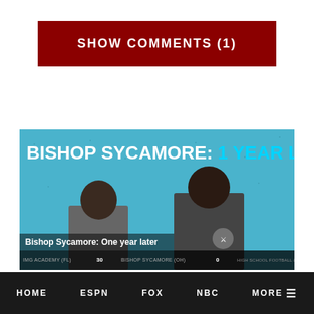SHOW COMMENTS (1)
[Figure (screenshot): Video thumbnail showing two men on a football sideline against a cyan blue background. Large text overlay reads 'BISHOP SYCAMORE: 1 YEAR LATER' with '1 YEAR LATER' in cyan. A scoreboard strip is visible at the bottom.]
Bishop Sycamore: One year later
HOME   ESPN   FOX   NBC   MORE